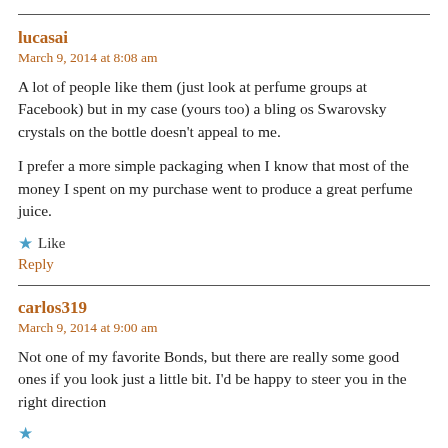lucasai
March 9, 2014 at 8:08 am
A lot of people like them (just look at perfume groups at Facebook) but in my case (yours too) a bling os Swarovsky crystals on the bottle doesn't appeal to me.

I prefer a more simple packaging when I know that most of the money I spent on my purchase went to produce a great perfume juice.
Like
Reply
carlos319
March 9, 2014 at 9:00 am
Not one of my favorite Bonds, but there are really some good ones if you look just a little bit. I'd be happy to steer you in the right direction